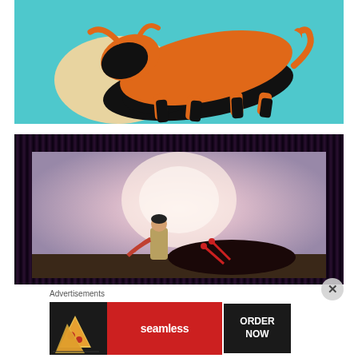[Figure (illustration): Graphic art illustration of an orange and black bull on a teal/turquoise background, pop-art papercut style with a cream moon/circle shape behind]
[Figure (photo): Photograph of a framed artwork in a black frame, showing a classical illustration of a matador bullfighter bending over a dark bull, with a glowing orb background, displayed leaning against a wooden surface]
Advertisements
[Figure (other): Advertisement banner: pizza slices image on left, Seamless red logo in center, ORDER NOW button on right, dark background]